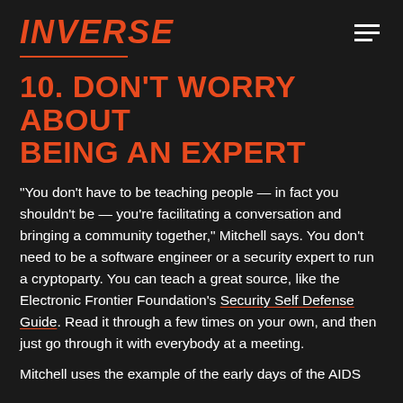INVERSE
10. DON'T WORRY ABOUT BEING AN EXPERT
“You don’t have to be teaching people — in fact you shouldn’t be — you’re facilitating a conversation and bringing a community together,” Mitchell says. You don’t need to be a software engineer or a security expert to run a cryptoparty. You can teach a great source, like the Electronic Frontier Foundation’s Security Self Defense Guide. Read it through a few times on your own, and then just go through it with everybody at a meeting.
Mitchell uses the example of the early days of the AIDS